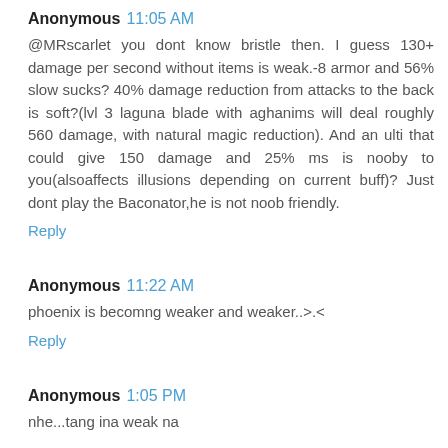Anonymous 11:05 AM
@MRscarlet you dont know bristle then. I guess 130+ damage per second without items is weak.-8 armor and 56% slow sucks? 40% damage reduction from attacks to the back is soft?(lvl 3 laguna blade with aghanims will deal roughly 560 damage, with natural magic reduction). And an ulti that could give 150 damage and 25% ms is nooby to you(alsoaffects illusions depending on current buff)? Just dont play the Baconator,he is not noob friendly.
Reply
Anonymous 11:22 AM
phoenix is becomng weaker and weaker..>.<
Reply
Anonymous 1:05 PM
nhe...tang ina weak na